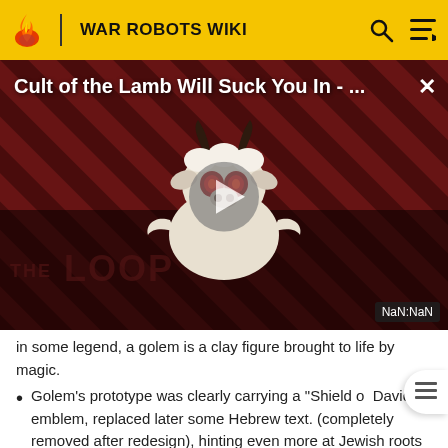WAR ROBOTS WIKI
[Figure (screenshot): Video thumbnail for 'Cult of the Lamb Will Suck You In - ...' showing a cartoon demon lamb character on a red diagonal striped background with a play button overlay and 'THE LOOP' watermark. NaN:NaN time display shown at bottom right.]
in some legend, a golem is a clay figure brought to life by magic.
Golem's prototype was clearly carrying a "Shield of David" emblem, replaced later some Hebrew text. (completely removed after redesign), hinting even more at Jewish roots of this robot.